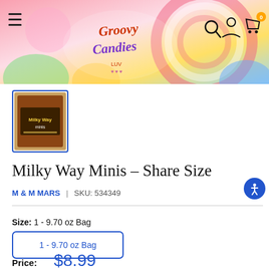Groovy Candies - header banner with navigation
[Figure (photo): Product thumbnail image of Milky Way Minis Share Size bag, chocolate brown packaging, shown in a blue-bordered square frame]
Milky Way Minis - Share Size
M & M MARS  |  SKU: 534349
Size:  1 - 9.70 oz Bag
1 - 9.70 oz Bag
Price:  $8.99